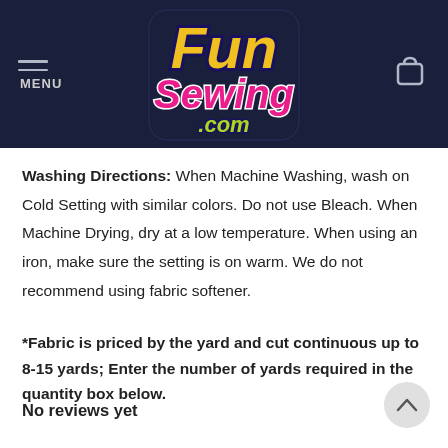FunSewing.com
Washing Directions: When Machine Washing, wash on Cold Setting with similar colors. Do not use Bleach. When Machine Drying, dry at a low temperature. When using an iron, make sure the setting is on warm. We do not recommend using fabric softener.
*Fabric is priced by the yard and cut continuous up to 8-15 yards; Enter the number of yards required in the quantity box below.
No reviews yet